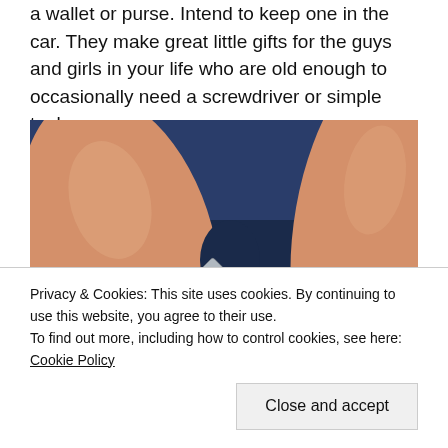a wallet or purse. Intend to keep one in the car. They make great little gifts for the guys and girls in your life who are old enough to occasionally need a screwdriver or simple tool.
[Figure (photo): Close-up photo of a hand holding a small KeySmart multi-tool between fingers, with blue background visible. The tool is a silver metal multi-function key-sized tool with various cutouts and marked 'KEYSMART' and '5.5'.]
Privacy & Cookies: This site uses cookies. By continuing to use this website, you agree to their use.
To find out more, including how to control cookies, see here: Cookie Policy